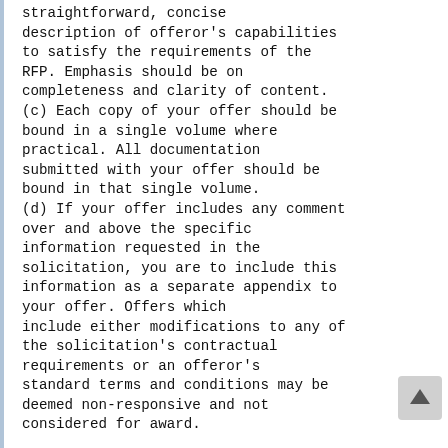straightforward, concise description of offeror's capabilities to satisfy the requirements of the RFP. Emphasis should be on completeness and clarity of content. (c) Each copy of your offer should be bound in a single volume where practical. All documentation submitted with your offer should be bound in that single volume. (d) If your offer includes any comment over and above the specific information requested in the solicitation, you are to include this information as a separate appendix to your offer. Offers which include either modifications to any of the solicitation's contractual requirements or an offeror's standard terms and conditions may be deemed non-responsive and not considered for award.